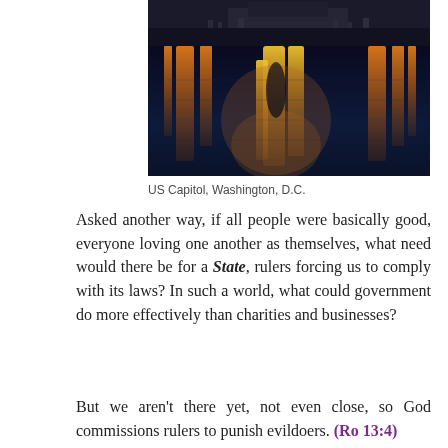[Figure (photo): Night photograph of the US Capitol building reflected in water, with warm orange and yellow light reflections on a deep blue surface]
US Capitol, Washington, D.C.
Asked another way, if all people were basically good, everyone loving one another as themselves, what need would there be for a State, rulers forcing us to comply with its laws? In such a world, what could government do more effectively than charities and businesses?
But we aren't there yet, not even close, so God commissions rulers to punish evildoers. (Ro 13:4)